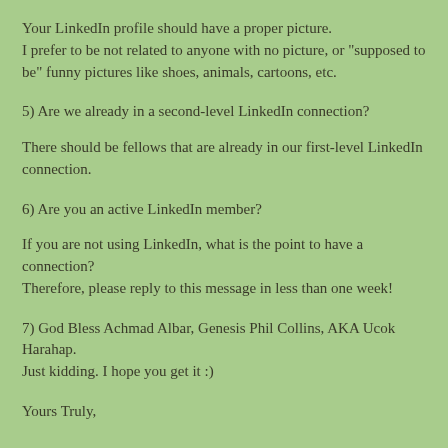Your LinkedIn profile should have a proper picture. I prefer to be not related to anyone with no picture, or "supposed to be" funny pictures like shoes, animals, cartoons, etc.
5) Are we already in a second-level LinkedIn connection?
There should be fellows that are already in our first-level LinkedIn connection.
6) Are you an active LinkedIn member?
If you are not using LinkedIn, what is the point to have a connection?
Therefore, please reply to this message in less than one week!
7) God Bless Achmad Albar, Genesis Phil Collins, AKA Ucok Harahap.
Just kidding. I hope you get it :)
Yours Truly,